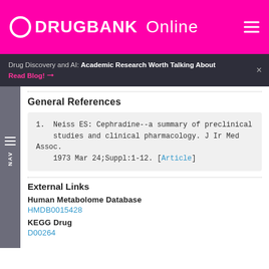DRUGBANK Online
Drug Discovery and AI: Academic Research Worth Talking About Read Blog!
General References
1. Neiss ES: Cephradine--a summary of preclinical studies and clinical pharmacology. J Ir Med Assoc. 1973 Mar 24;Suppl:1-12. [Article]
External Links
Human Metabolome Database
HMDB0015428
KEGG Drug
D00264